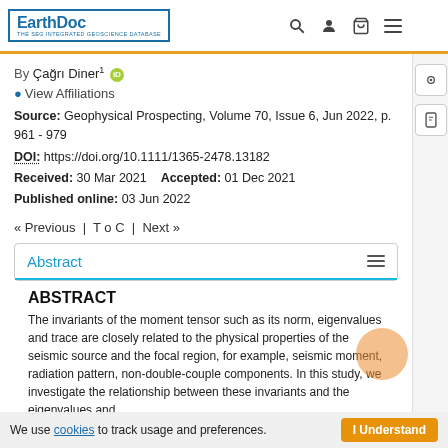EarthDoc — THE SEG INTEGRATED GEOSCIENCE DATABASE
By Çağrı Diner¹ [ORCID] View Affiliations
Source: Geophysical Prospecting, Volume 70, Issue 6, Jun 2022, p. 961 - 979
DOI: https://doi.org/10.1111/1365-2478.13182
Received: 30 Mar 2021   Accepted: 01 Dec 2021
Published online: 03 Jun 2022
« Previous  |  T o C  |  Next »
Abstract
ABSTRACT
The invariants of the moment tensor such as its norm, eigenvalues and trace are closely related to the physical properties of the seismic source and the focal region, for example, seismic moment, radiation pattern, non-double-couple components. In this study, we investigate the relationship between these invariants and the eigenvalues and eig...
We use cookies to track usage and preferences.